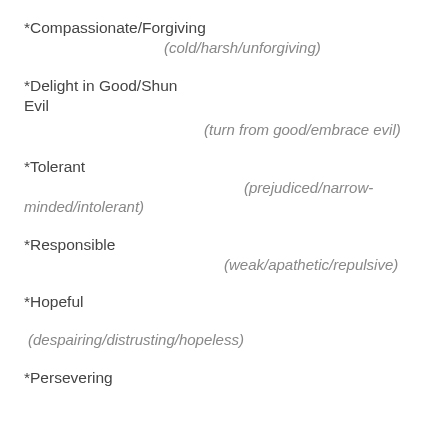*Compassionate/Forgiving
(cold/harsh/unforgiving)
*Delight in Good/Shun Evil
(turn from good/embrace evil)
*Tolerant
(prejudiced/narrow-minded/intolerant)
*Responsible
(weak/apathetic/repulsive)
*Hopeful
(despairing/distrusting/hopeless)
*Persevering